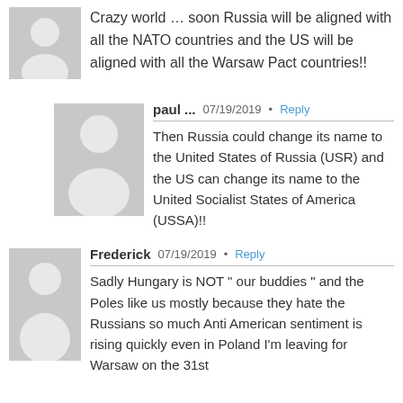[Figure (illustration): Gray avatar silhouette for anonymous commenter]
Crazy world … soon Russia will be aligned with all the NATO countries and the US will be aligned with all the Warsaw Pact countries!!
[Figure (illustration): Gray avatar silhouette for paul]
paul ...  07/19/2019 • Reply
Then Russia could change its name to the United States of Russia (USR) and the US can change its name to the United Socialist States of America (USSA)!!
[Figure (illustration): Gray avatar silhouette for Frederick]
Frederick  07/19/2019 • Reply
Sadly Hungary is NOT " our buddies " and the Poles like us mostly because they hate the Russians so much Anti American sentiment is rising quickly even in Poland I'm leaving for Warsaw on the 31st